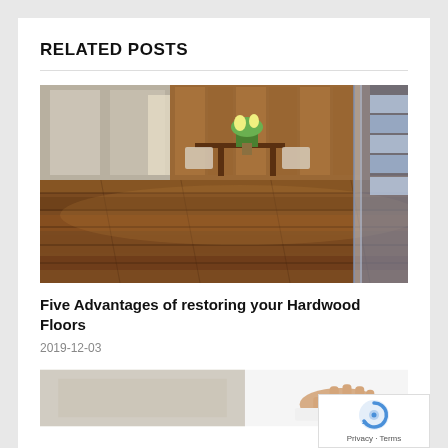RELATED POSTS
[Figure (photo): Interior room with polished dark hardwood floors, a round table with a flower vase, and modern glass staircase railing with blue-lit stairs on the right.]
Five Advantages of restoring your Hardwood Floors
2019-12-03
[Figure (photo): Partial view of a second blog post image, showing a person's hand on a white surface, partially visible.]